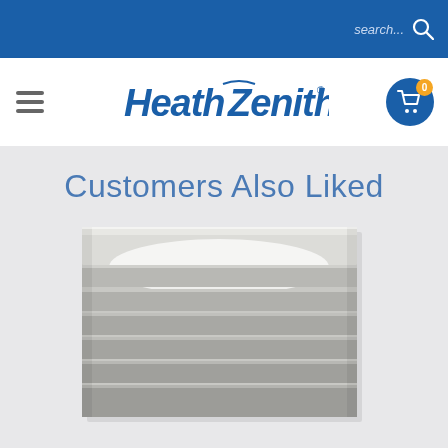search...
[Figure (logo): Heath Zenith brand logo in blue italic font with registered trademark symbol]
Customers Also Liked
[Figure (photo): A rectangular step light fixture with horizontal aluminum/silver slat panels, wall mount lighting product shown on white background]